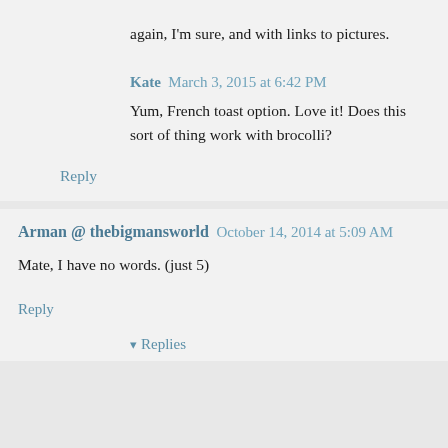again, I'm sure, and with links to pictures.
Kate  March 3, 2015 at 6:42 PM
Yum, French toast option. Love it! Does this sort of thing work with brocolli?
Reply
Arman @ thebigmansworld  October 14, 2014 at 5:09 AM
Mate, I have no words. (just 5)
Reply
Replies